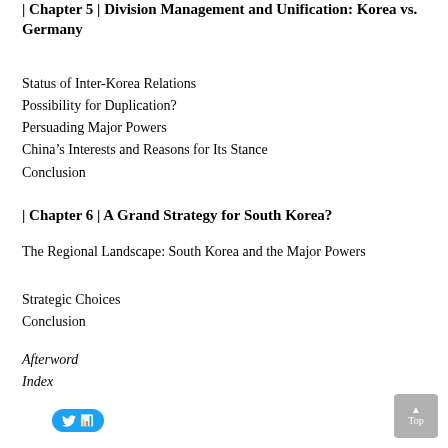| Chapter 5 | Division Management and Unification: Korea vs. Germany
Status of Inter-Korea Relations
Possibility for Duplication?
Persuading Major Powers
China’s Interests and Reasons for Its Stance
Conclusion
| Chapter 6 | A Grand Strategy for South Korea?
The Regional Landscape: South Korea and the Major Powers
Strategic Choices
Conclusion
Afterword
Index